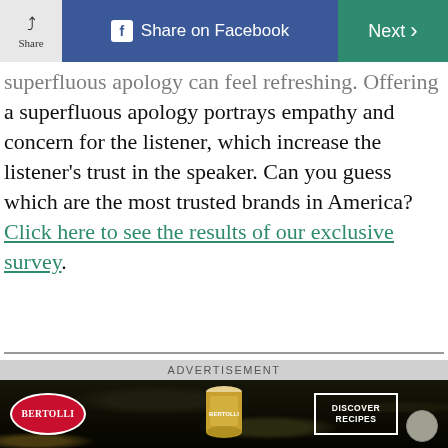Share  |  Share on Facebook  |  Next
superfluous apology can feel refreshing. Offering a superfluous apology portrays empathy and concern for the listener, which increase the listener's trust in the speaker. Can you guess which are the most trusted brands in America? Click here to see the results of our exclusive survey.
[Figure (photo): Photo of a person viewed from behind near a window, partially obscured]
ADVERTISEMENT
[Figure (photo): Bertolli brand advertisement banner with logo, product can, and 'Discover Recipes' call-to-action on a dark background]